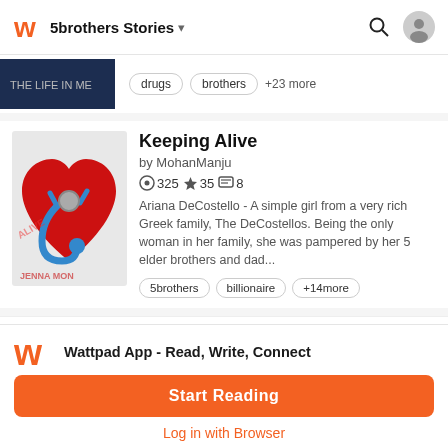5brothers Stories
drugs   brothers   +23 more
[Figure (screenshot): Book cover for Keeping Alive - red heart with stethoscope]
Keeping Alive
by MohanManju
325  35  8
Ariana DeCostello - A simple girl from a very rich Greek family, The DeCostellos. Being the only woman in her family, she was pampered by her 5 elder brothers and dad...
5brothers   billionaire   +14more
[Figure (screenshot): Dark forest/trees book cover thumbnail]
They say I was born a Demi god
by BhaddieLavi
[Figure (logo): Wattpad orange W logo]
Wattpad App - Read, Write, Connect
Start Reading
Log in with Browser